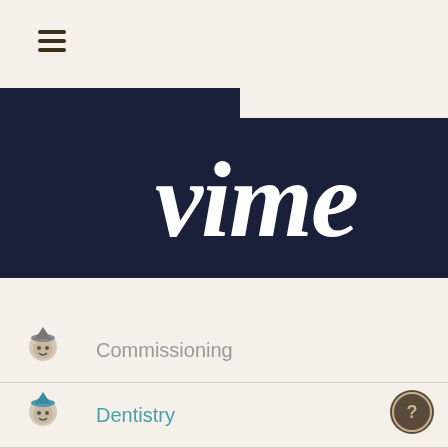[Figure (logo): Vimeo-style logo with white script text on dark navy background, partially cropped]
Commissioning
Dentistry
Education
Learning Disabilities
Mental Health
Musculoskeletal